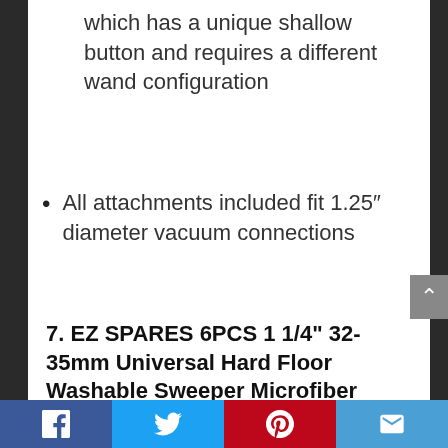which has a unique shallow button and requires a different wand configuration
All attachments included fit 1.25″ diameter vacuum connections
7. EZ SPARES 6PCS 1 1/4" 32-35mm Universal Hard Floor Washable Sweeper Microfiber Chenille Dust Mop Brush Kit Head Fit All Vacuum Brands Cleaner Accessories Horsehair Brush Kit for Most Brands
Social share bar: Facebook, Twitter, Pinterest, Email